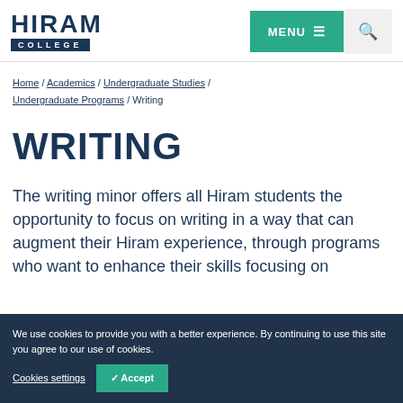Hiram College — MENU navigation and search header
Home / Academics / Undergraduate Studies / Undergraduate Programs / Writing
WRITING
The writing minor offers all Hiram students the opportunity to focus on writing in a way that can augment their Hiram experience, through programs who want to enhance their skills focusing on
We use cookies to provide you with a better experience. By continuing to use this site you agree to our use of cookies.